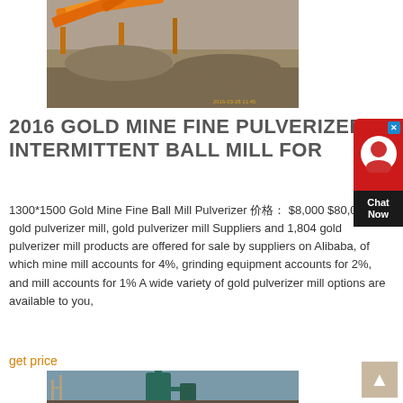[Figure (photo): Mining equipment with yellow conveyors and gravel/quarry setting outdoors]
2016 GOLD MINE FINE PULVERIZER INTERMITTENT BALL MILL FOR
1300*1500 Gold Mine Fine Ball Mill Pulverizer 价格: $8,000 $80,000 gold pulverizer mill, gold pulverizer mill Suppliers and 1,804 gold pulverizer mill products are offered for sale by suppliers on Alibaba, of which mine mill accounts for 4%, grinding equipment accounts for 2%, and mill accounts for 1% A wide variety of gold pulverizer mill options are available to you,
get price
[Figure (photo): Industrial pulverizer mill equipment with green cyclone and pipe structures outdoors]